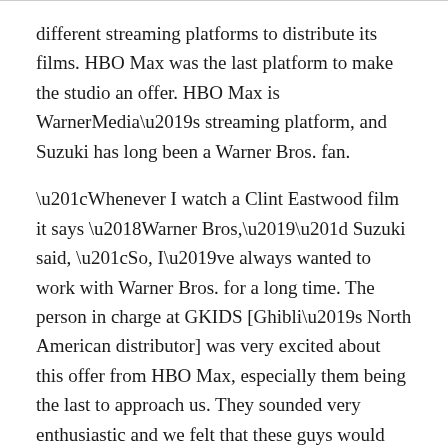different streaming platforms to distribute its films. HBO Max was the last platform to make the studio an offer. HBO Max is WarnerMedia's streaming platform, and Suzuki has long been a Warner Bros. fan.
“Whenever I watch a Clint Eastwood film it says ‘Warner Bros,’” Suzuki said, “So, I’ve always wanted to work with Warner Bros. for a long time. The person in charge at GKIDS [Ghibli’s North American distributor] was very excited about this offer from HBO Max, especially them being the last to approach us. They sounded very enthusiastic and we felt that these guys would really appreciate our films and do great work with it.”
Suzuki said in March that part of the reason Ghibli lifted the ban was to make money off the deal so that it could be used to help finance the studio’s new film, “How Do You Live?” The project marks Miyazaki’s return to feature